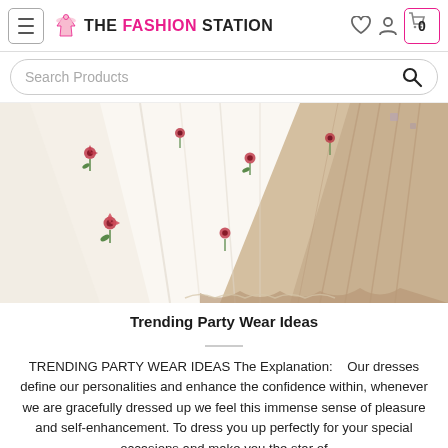THE FASHION STATION
Search Products
[Figure (photo): Close-up photo of a white and beige ruffled dress skirt with small red flower embroidery, spread out on a floral rug floor.]
Trending Party Wear Ideas
TRENDING PARTY WEAR IDEAS The Explanation:    Our dresses define our personalities and enhance the confidence within, whenever we are gracefully dressed up we feel this immense sense of pleasure and self-enhancement. To dress you up perfectly for your special occasions and make you the star of